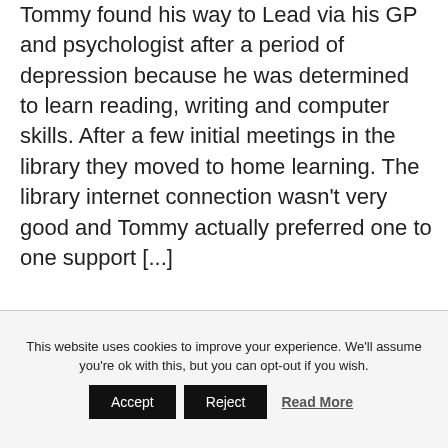Tommy found his way to Lead via his GP and psychologist after a period of depression because he was determined to learn reading, writing and computer skills. After a few initial meetings in the library they moved to home learning. The library internet connection wasn't very good and Tommy actually preferred one to one support [...]
Read more about Tommy Receives the Adult Achievement Award
This website uses cookies to improve your experience. We'll assume you're ok with this, but you can opt-out if you wish. Accept Reject Read More